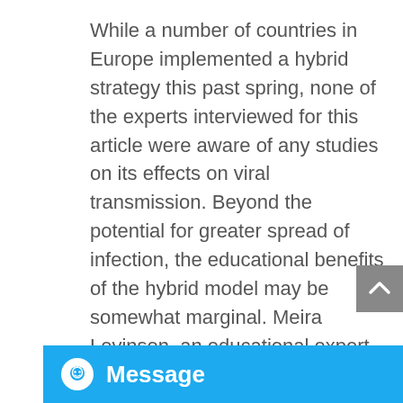While a number of countries in Europe implemented a hybrid strategy this past spring, none of the experts interviewed for this article were aware of any studies on its effects on viral transmission. Beyond the potential for greater spread of infection, the educational benefits of the hybrid model may be somewhat marginal. Meira Levinson, an educational expert and ethicist, told me that some students might find real value in even intermittent opportunities to learn in person—from dissecting frogs, for example, or the occasional team-building exercise. But many others will be adversely affected by an inconsistent schedule. She al... that hybrid models do little t... child-care crisis that results from having